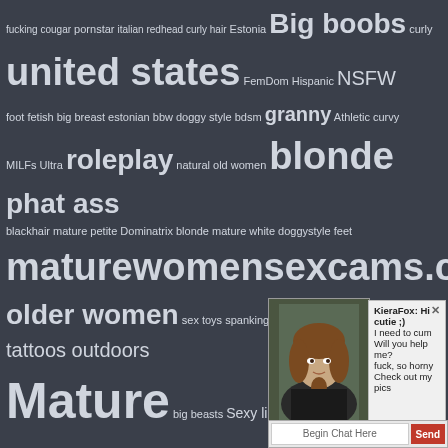fucking cougar pornstar italian redhead curly hair Estonia Big boobs curly united states FemDom Hispanic NSFW foot fetish big breast estonian bbw doggy style bdsm granny Athletic curvy MILFs Ultra roleplay natural old women blonde phat ass blackhair mature petite Dominatrix blonde mature white doggystyle feet maturewomensexcams.com older women sex toys spanking bonga tattoos outdoors Mature big beasts Sexy lingerie group sex Milf small tit mature british blowjob pretty over 60 Cam2Cam big tit mature smoking dildo camgirl huge tits webcam big tits dildo play cam show Canada hairy pussy housewife sexy ass Role plays milfsultra.com beautiful ass orgy newcocksformywife.com busty colombian cock riding milfsbang.com bald pussy footjob fat cumshot Italy big ass cam girl Average anal play stockings brunette canada... MILFs Bang solo... mature blonde B... top 10 fetish anal g... tits bulgarian br...
[Figure (screenshot): Chat popup overlay showing a photo of a young woman with curly hair and a chat message from KieraFox saying 'Hi cutie ;) I need to cum Will you help me? fuck, so horny Check out my pics' with a 'Begin Chat Here' input bar and a red 'Send' button]